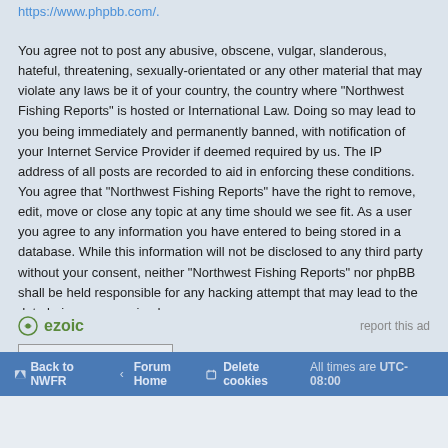https://www.phpbb.com/.
You agree not to post any abusive, obscene, vulgar, slanderous, hateful, threatening, sexually-orientated or any other material that may violate any laws be it of your country, the country where “Northwest Fishing Reports” is hosted or International Law. Doing so may lead to you being immediately and permanently banned, with notification of your Internet Service Provider if deemed required by us. The IP address of all posts are recorded to aid in enforcing these conditions. You agree that “Northwest Fishing Reports” have the right to remove, edit, move or close any topic at any time should we see fit. As a user you agree to any information you have entered to being stored in a database. While this information will not be disclosed to any third party without your consent, neither “Northwest Fishing Reports” nor phpBB shall be held responsible for any hacking attempt that may lead to the data being compromised.
Back to previous page
ezoic  report this ad
Back to NWFR  Forum Home  Delete cookies  All times are UTC-08:00